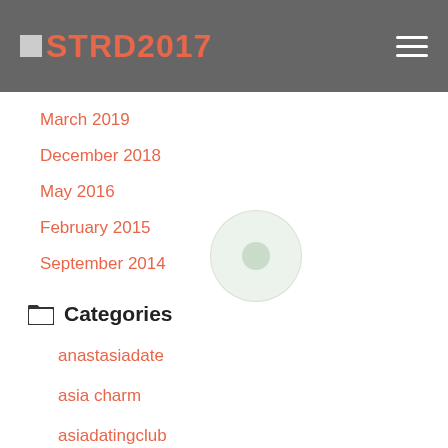STRD2017
March 2019
December 2018
May 2016
February 2015
September 2014
Categories
anastasiadate
asia charm
asiadatingclub
asiame
asian single solution
Blog
bridge of love